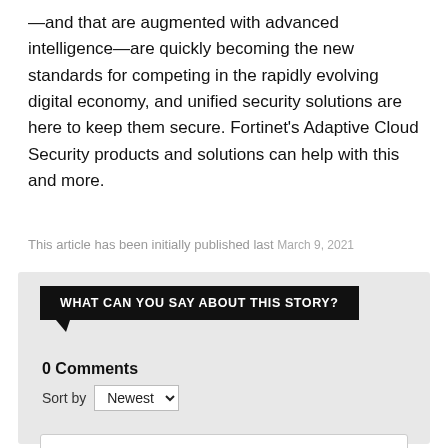—and that are augmented with advanced intelligence—are quickly becoming the new standards for competing in the rapidly evolving digital economy, and unified security solutions are here to keep them secure. Fortinet's Adaptive Cloud Security products and solutions can help with this and more.
This article has been initially published last March 9, 2021
[Figure (screenshot): Comment section UI with speech bubble header 'WHAT CAN YOU SAY ABOUT THIS STORY?', showing 0 Comments, a Sort by Newest dropdown, and an Add a comment... text input box]